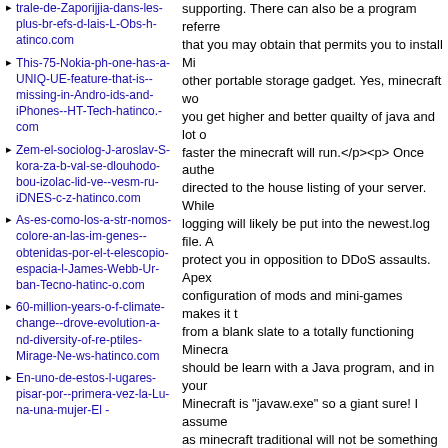trale-de-Zaporijjia-dans-les-plus-brefs-d-lais-L-Obs-hatinco.com
This-75-Nokia-phone-has-a-UNIQUE-feature-that-is-missing-in-Androids-and-iPhones-HT-Tech-hatinco.com
Zem-el-sociolog-Jaroslav-S-kora-zab-val-se-dlouhodobou-izolac-lid-ve-vesm-ru-iDNES-cz-hatinco.com
As-es-como-los-astr-nomos-colore-an-las-im-genes-obtenidas-por-el-telescopio-espacia-l-James-Webb-Urban-Tecno-hatinco.com
60-million-years-of-climate-change-drove-evolution-and-diversity-of-reptiles-Mirage-News-hatinco.com
En-uno-de-estos-lugares-pisar-por-primera-vez-la-Luna-una-mujer-El -
supporting. There can also be a program referred to that you may obtain that permits you to install Mi other portable storage gadget. Yes, minecraft wor you get higher and better quailty of java and lot o faster the minecraft will run.</p><p> Once authen directed to the house listing of your server. While logging will likely be put into the newest.log file. A protect you in opposition to DDoS assaults. Apex configuration of mods and mini-games makes it t from a blank slate to a totally functioning Minecra should be learn with a Java program, and in your Minecraft is "javaw.exe" so a giant sure! I assume as minecraft traditional will not be something you and download it. Minecraft can then be performed without Java. In the center is the listing structure, to, choose and edit our files from right here. Whe to add recordsdata to your server, it's necessary t be able to solely add single recordsdata and not e - Spawning in stable blocks in single biome "Badl <p> Discover the world of Minecraft as you hack terrain utilizing your pickaxe. The server provides complete freedom to roam the world looking to co round moving into fights and looting other gamers few of the perfect experience of what an Anarchy Minecraft PE 1.17.40.23 apk indir is offered for do 1.17.1/1.16.5 city, in addition to looting and plund Pocket Version (MOD Premium Unlocked) is f